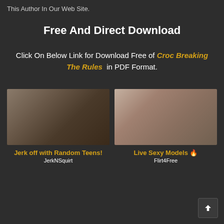This Author In Our Web Site.
Free And Direct Download
Click On Below Link for Download Free of Croc Breaking The Rules in PDF Format.
[Figure (photo): Promotional image on the left]
[Figure (photo): Promotional image on the right]
Jerk off with Random Teens! JerkNSquirt
Live Sexy Models 🔥 Flirt4Free